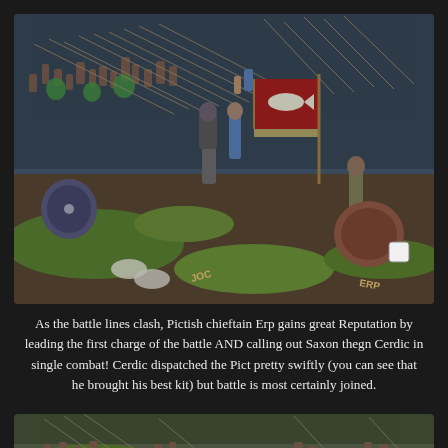[Figure (photo): Close-up photograph of painted miniature wargame figures depicting a medieval battle scene. Pictish and Saxon warriors with spears, shields, and a red banner featuring a fish emblem. Figures are on scenic bases with grass and dirt textures. Labels visible on bases including 'JOC', 'ERP'.]
As the battle lines clash, Pictish chieftain Erp gains great Reputation by leading the first charge of the battle AND calling out Saxon thegn Cerdic in single combat! Cerdic dispatched the Pict pretty swiftly (you can see that he brought his best kit) but battle is most certainly joined.
[Figure (photo): Partial view of another miniature wargame battle scene photograph, cropped at the bottom of the page. Shows miniature figures in a battle formation.]